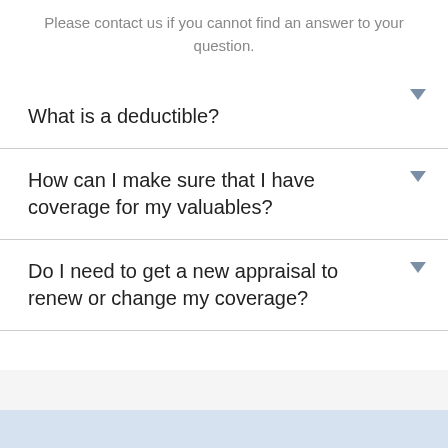Please contact us if you cannot find an answer to your question.
What is a deductible?
How can I make sure that I have coverage for my valuables?
Do I need to get a new appraisal to renew or change my coverage?